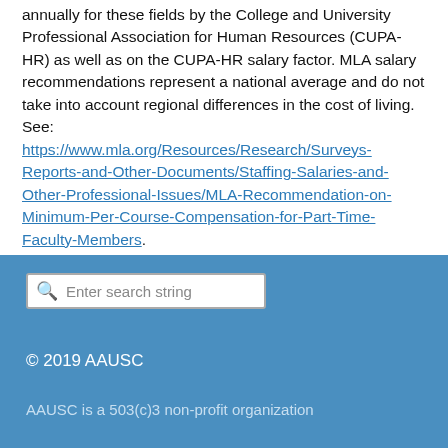annually for these fields by the College and University Professional Association for Human Resources (CUPA-HR) as well as on the CUPA-HR salary factor. MLA salary recommendations represent a national average and do not take into account regional differences in the cost of living. See: https://www.mla.org/Resources/Research/Surveys-Reports-and-Other-Documents/Staffing-Salaries-and-Other-Professional-Issues/MLA-Recommendation-on-Minimum-Per-Course-Compensation-for-Part-Time-Faculty-Members.
Enter search string
© 2019 AAUSC
AAUSC is a 503(c)3 non-profit organization